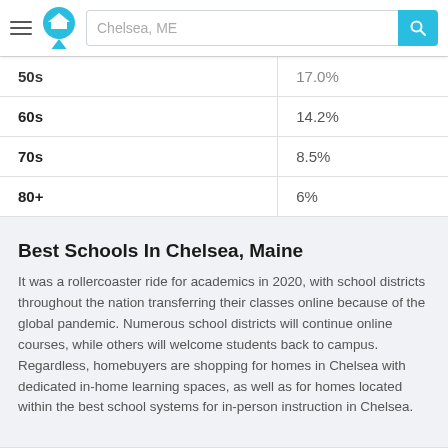Chelsea, ME
| Age Group | Percentage |
| --- | --- |
| 50s | 17.0% |
| 60s | 14.2% |
| 70s | 8.5% |
| 80+ | 6% |
Best Schools In Chelsea, Maine
It was a rollercoaster ride for academics in 2020, with school districts throughout the nation transferring their classes online because of the global pandemic. Numerous school districts will continue online courses, while others will welcome students back to campus. Regardless, homebuyers are shopping for homes in Chelsea with dedicated in-home learning spaces, as well as for homes located within the best school systems for in-person instruction in Chelsea.